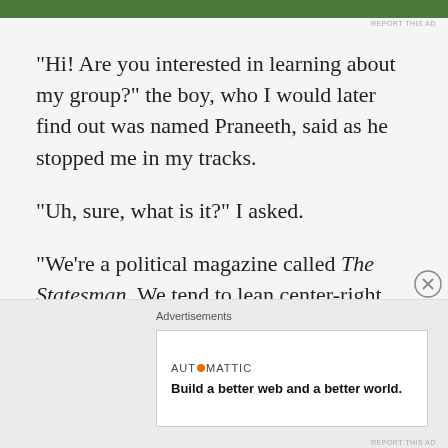[Figure (other): Green advertisement banner at top of page]
REPORT THIS AD
“Hi! Are you interested in learning about my group?” the boy, who I would later find out was named Praneeth, said as he stopped me in my tracks.
“Uh, sure, what is it?” I asked.
“We’re a political magazine called The Statesman. We tend to lean center-right, conservative.”
“Oh!” I said in surprise as he handed me a copy of a sleek magazine that read “Rearming the Archipelago.”
Advertisements
AUTOMATTIC
Build a better web and a better world.
REPORT THIS AD